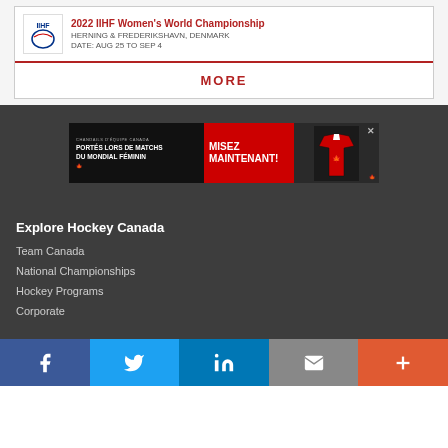2022 IIHF Women's World Championship
HERNING & FREDERIKSHAVN, DENMARK
DATE: AUG 25 TO SEP 4
MORE
[Figure (infographic): Advertisement banner: CHANDAILS D'ÉQUIPE CANADA PORTÉS LORS DE MATCHS DU MONDIAL FÉMININ — MISEZ MAINTENANT! with Hockey Canada jersey image]
Explore Hockey Canada
Team Canada
National Championships
Hockey Programs
Corporate
[Figure (infographic): Social media share bar with Facebook, Twitter, LinkedIn, Email, and More buttons]